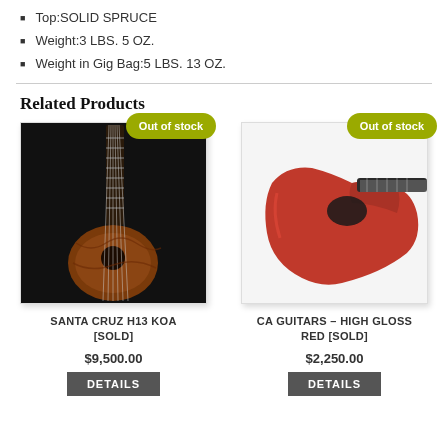Top:SOLID SPRUCE
Weight:3 LBS. 5 OZ.
Weight in Gig Bag:5 LBS. 13 OZ.
Related Products
[Figure (photo): Guitar product image - SANTA CRUZ H13 KOA, dark background, acoustic guitar with koa body, Out of stock badge]
SANTA CRUZ H13 KOA [SOLD]
$9,500.00
[Figure (photo): Guitar product image - CA Guitars High Gloss Red, red electric guitar body, Out of stock badge]
CA GUITARS – HIGH GLOSS RED [SOLD]
$2,250.00